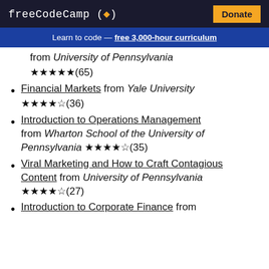freeCodeCamp (flame) | Donate
Learn to code — free 3,000-hour curriculum
from University of Pennsylvania ★★★★★(65)
Financial Markets from Yale University ★★★★☆(36)
Introduction to Operations Management from Wharton School of the University of Pennsylvania ★★★★☆(35)
Viral Marketing and How to Craft Contagious Content from University of Pennsylvania ★★★★☆(27)
Introduction to Corporate Finance from